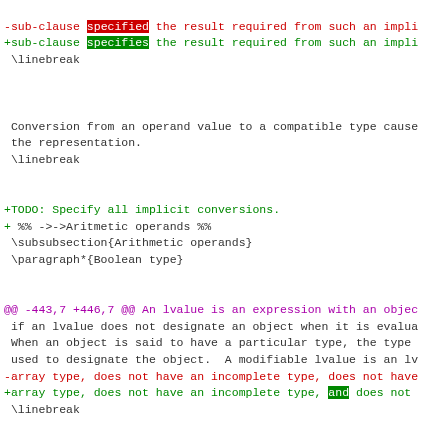-sub-clause specified the result required from such an impli
+sub-clause specifies the result required from such an impli
 \linebreak
Conversion from an operand value to a compatible type cause
 the representation.
 \linebreak
+TODO: Specify all implicit conversions.
+
 %% ->->Aritmetic operands %%
 \subsubsection{Arithmetic operands}
 \paragraph*{Boolean type}
@@ -443,7 +446,7 @@ An lvalue is an expression with an objec
 if an lvalue does not designate an object when it is evalua
 When an object is said to have a particular type, the type
 used to designate the object.  A modifiable lvalue is an lv
-array type, does not have an incomplete type, does not have
+array type, does not have an incomplete type, and does not
 \linebreak
Except when it is the operand of the unary \& operator, the
@@ -455,13 +458,12 @@ the lvalue has an incomplete type and
 \linebreak
A function designator is an expression that has function ty
-\linebreak
\paragraph*{void}
 The (nonexistent) value of a void expression (an expression
 be used in any way, and implicit conversions (except to voi
-such an expression.  If an expression of any other type is